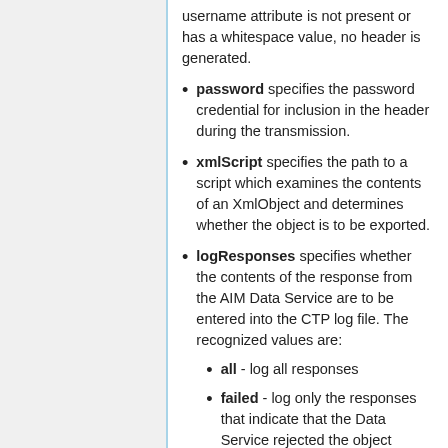username attribute is not present or has a whitespace value, no header is generated.
password specifies the password credential for inclusion in the header during the transmission.
xmlScript specifies the path to a script which examines the contents of an XmlObject and determines whether the object is to be exported.
logResponses specifies whether the contents of the response from the AIM Data Service are to be entered into the CTP log file. The recognized values are:
all - log all responses
failed - log only the responses that indicate that the Data Service rejected the object
none - do not log responses